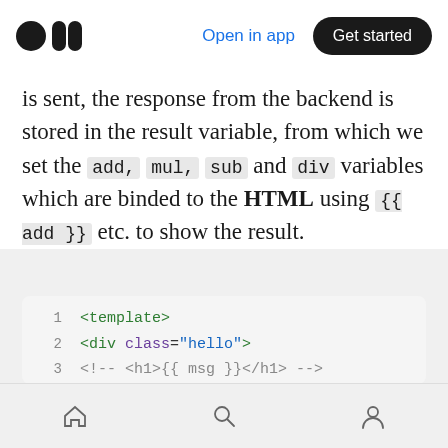Medium app navigation bar with logo, Open in app link, and Get started button
is sent, the response from the backend is stored in the result variable, from which we set the add, mul, sub and div variables which are binded to the HTML using {{ add }} etc. to show the result.
[Figure (screenshot): Code block showing Vue.js template HTML: lines 1-7 with template, div class=hello, commented h1 with msg, empty line 4, div, h1 class=title with Calculator text, and closing div]
Bottom navigation bar with home, search, and profile icons